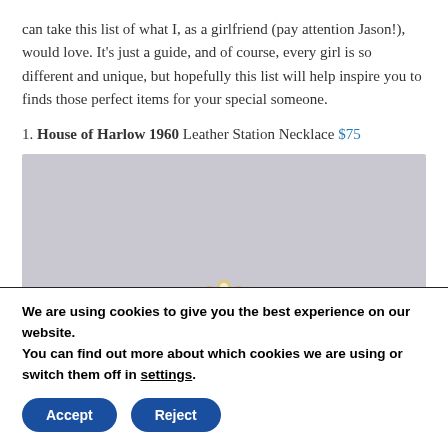can take this list of what I, as a girlfriend (pay attention Jason!), would love. It's just a guide, and of course, every girl is so different and unique, but hopefully this list will help inspire you to finds those perfect items for your special someone.
1. House of Harlow 1960 Leather Station Necklace $75
[Figure (photo): Photo of a gold necklace with pearl accents on a lavender/grey background, partially visible at the bottom of the image frame.]
We are using cookies to give you the best experience on our website. You can find out more about which cookies we are using or switch them off in settings.